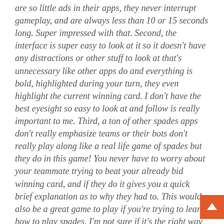are so little ads in their apps, they never interrupt gameplay, and are always less than 10 or 15 seconds long. Super impressed with that. Second, the interface is super easy to look at it so it doesn't have any distractions or other stuff to look at that's unnecessary like other apps do and everything is bold, highlighted during your turn, they even highlight the current winning card. I don't have the best eyesight so easy to look at and follow is really important to me. Third, a ton of other spades apps don't really emphasize teams or their bots don't really play along like a real life game of spades but they do in this game! You never have to worry about your teammate trying to beat your already bid winning card, and if they do it gives you a quick brief explanation as to why they had to. This would also be a great game to play if you're trying to learn how to play spades, I'm not sure if it's the right way but the exact gameplay in this is exactly how I originally learned how to play spades